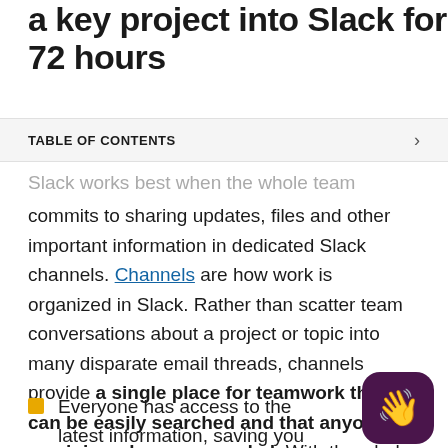a key project into Slack for 72 hours
TABLE OF CONTENTS
Slack works best when the whole team commits to sharing updates, files and other important information in dedicated Slack channels. Channels are how work is organized in Slack. Rather than scatter team conversations about a project or topic into many disparate email threads, channels provide a single place for teamwork that can be easily searched and that anyone can join or leave as needed. With the whole team working in channels:
Everyone has access to the latest information, saving you time on managing